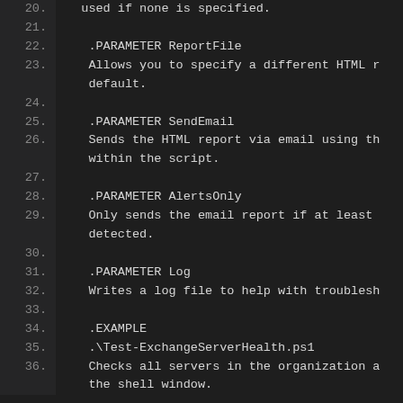20.    set it $true to generate a HTML report... used if none is specified.
21.
22.    .PARAMETER ReportFile
23.    Allows you to specify a different HTML r... default.
24.
25.    .PARAMETER SendEmail
26.    Sends the HTML report via email using th... within the script.
27.
28.    .PARAMETER AlertsOnly
29.    Only sends the email report if at least... detected.
30.
31.    .PARAMETER Log
32.    Writes a log file to help with troublesh
33.
34.    .EXAMPLE
35.    .\Test-ExchangeServerHealth.ps1
36.    Checks all servers in the organization a... the shell window.